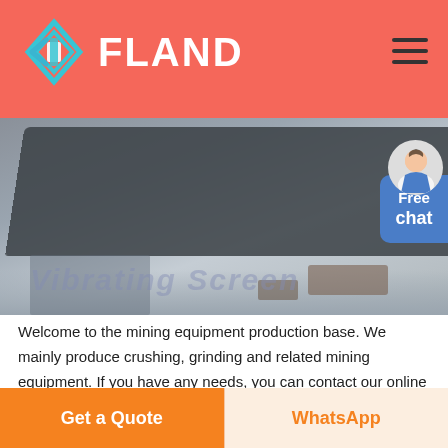[Figure (logo): FLAND company logo with diamond/chevron icon in teal/blue on red background header]
[Figure (photo): Mining equipment - large dark industrial machine (vibrating screen) on a factory floor, with orange circular element visible. 'Vibrating Screen' watermark text overlaid.]
Welcome to the mining equipment production base. We mainly produce crushing, grinding and related mining equipment. If you have any needs, you can contact our online customer service or leave a message through the form below. We will serve you wholeheartedly!